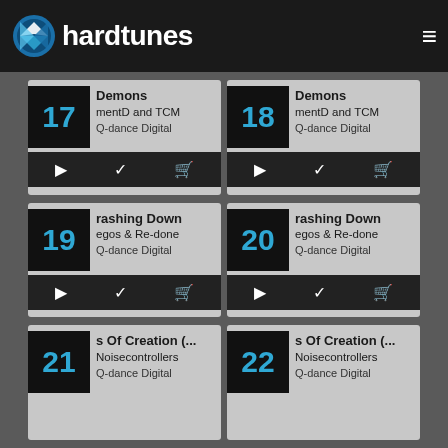hardtunes
17 Demons - mentD and TCM - Q-dance Digital
18 Demons - mentD and TCM - Q-dance Digital
19 rashing Down - egos & Re-done - Q-dance Digital
20 rashing Down - egos & Re-done - Q-dance Digital
21 s Of Creation (... - Noisecontrollers - Q-dance Digital
22 s Of Creation (... - Noisecontrollers - Q-dance Digital